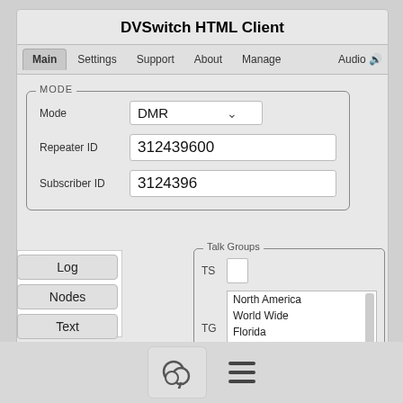DVSwitch HTML Client
Main | Settings | Support | About | Manage | Audio
MODE
Mode: DMR
Repeater ID: 312439600
Subscriber ID: 3124396
Log
Nodes
Text
Talk Groups
TS
TG: North America, World Wide, Florida, Georgia